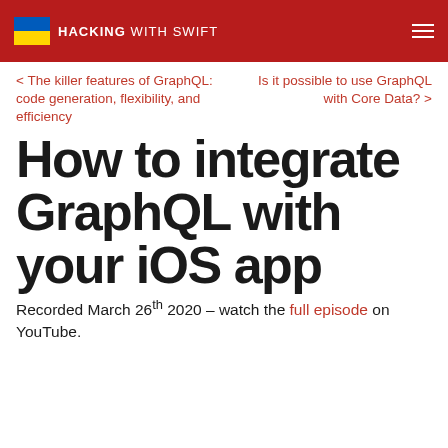HACKING WITH SWIFT
< The killer features of GraphQL: code generation, flexibility, and efficiency
Is it possible to use GraphQL with Core Data? >
How to integrate GraphQL with your iOS app
Recorded March 26th 2020 – watch the full episode on YouTube.